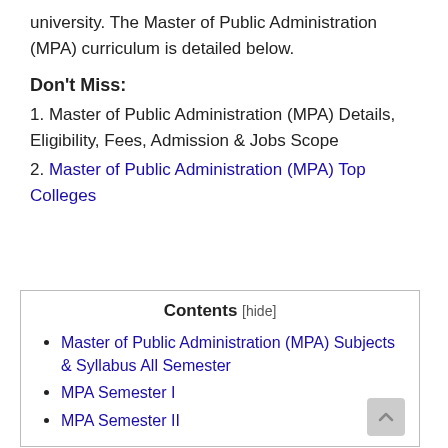university. The Master of Public Administration (MPA) curriculum is detailed below.
Don't Miss:
1. Master of Public Administration (MPA) Details, Eligibility, Fees, Admission & Jobs Scope
2. Master of Public Administration (MPA) Top Colleges
Contents [hide]
Master of Public Administration (MPA) Subjects & Syllabus All Semester
MPA Semester I
MPA Semester II